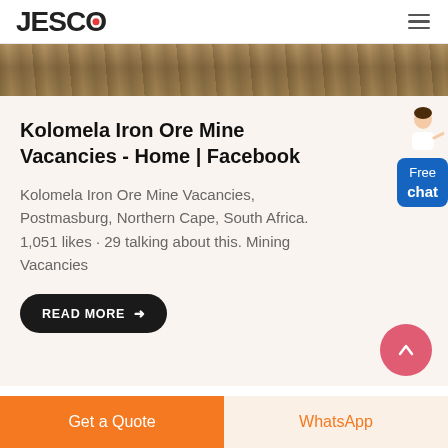JESCO
[Figure (photo): Top portion of a mining site / iron ore mine photo, earth tones, rocks and machinery visible]
Kolomela Iron Ore Mine Vacancies - Home | Facebook
Kolomela Iron Ore Mine Vacancies, Postmasburg, Northern Cape, South Africa. 1,051 likes · 29 talking about this. Mining Vacancies
READ MORE →
Free chat
Get a Quote    WhatsApp